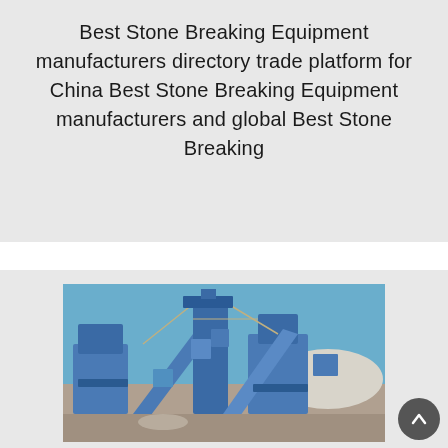Best Stone Breaking Equipment manufacturers directory trade platform for China Best Stone Breaking Equipment manufacturers and global Best Stone Breaking
[Figure (photo): Industrial stone breaking equipment facility showing large blue-colored crushing and conveying machines against a clear blue sky, with aggregate piles in the background.]